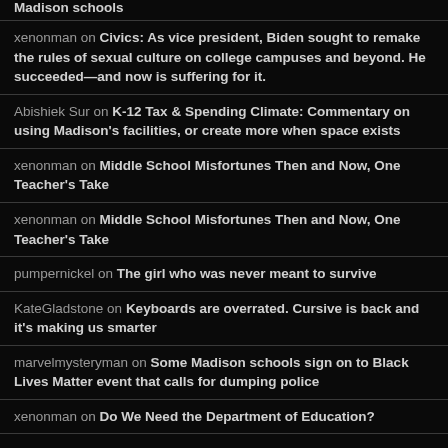Madison schools
xenonman on Civics: As vice president, Biden sought to remake the rules of sexual culture on college campuses and beyond. He succeeded—and now is suffering for it.
Abishiek Sur on K-12 Tax & Spending Climate: Commentary on using Madison's facilities, or create more when space exists
xenonman on Middle School Misfortunes Then and Now, One Teacher's Take
xenonman on Middle School Misfortunes Then and Now, One Teacher's Take
pumpernickel on The girl who was never meant to survive
KateGladstone on Keyboards are overrated. Cursive is back and it's making us smarter
marvelmysteryman on Some Madison schools sign on to Black Lives Matter event that calls for dumping police
xenonman on Do We Need the Department of Education?